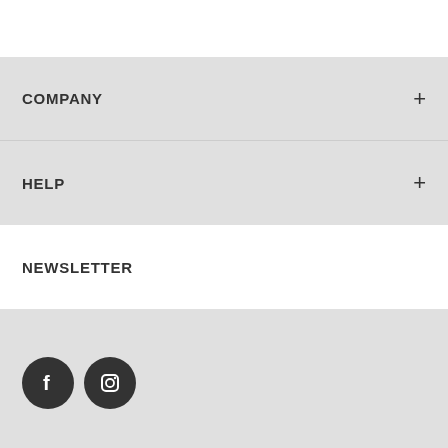COMPANY
HELP
NEWSLETTER
[Figure (logo): Social media icons: Facebook and Instagram dark circle buttons, and BSIDES brand logo with decorative script initial and back-to-top chevron arrow]